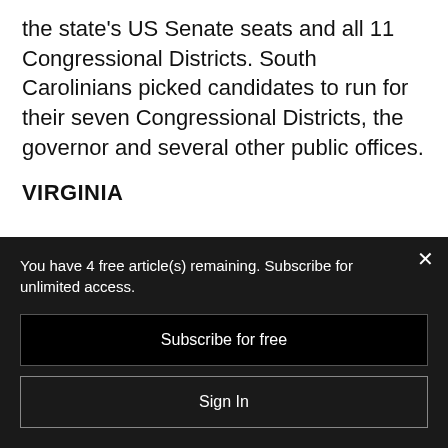the state's US Senate seats and all 11 Congressional Districts. South Carolinians picked candidates to run for their seven Congressional Districts, the governor and several other public offices.
VIRGINIA
You have 4 free article(s) remaining. Subscribe for unlimited access.
Subscribe for free
Sign In